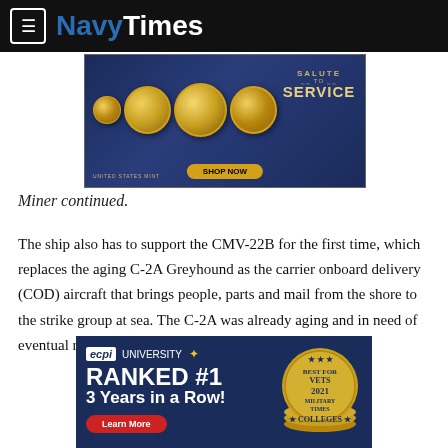NavyTimes
[Figure (photo): US Mint advertisement showing gold coins with 'SALUTE TO SERVICE' text and 'SHOP NOW' button]
Miner continued.
The ship also has to support the CMV-22B for the first time, which replaces the aging C-2A Greyhound as the carrier onboard delivery (COD) aircraft that brings people, parts and mail from the shore to the strike group at sea. The C-2A was already aging and in need of eventual replacement, but the V-22 variant was
[Figure (photo): ECPI University advertisement: RANKED #1 3 Years in a Row! Best For Vets 2021 Military Times Colleges badge]